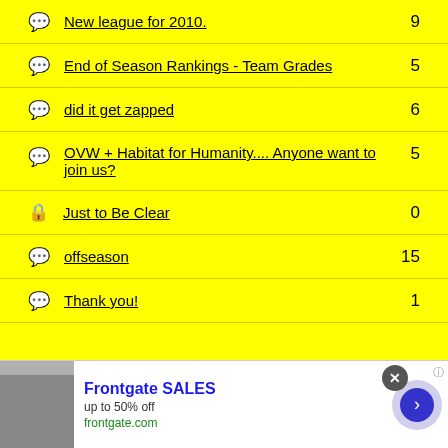New league for 2010. — 9
End of Season Rankings - Team Grades — 5
did it get zapped — 6
OVW + Habitat for Humanity.... Anyone want to join us? — 5
Just to Be Clear — 0
offseason — 15
Thank you! — 1
[Figure (infographic): Advertisement banner for Frontgate SALES, up to 50% off, frontgate.com, with close button and arrow navigation]